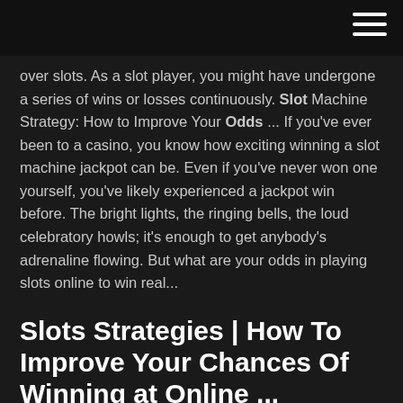[hamburger menu icon]
over slots. As a slot player, you might have undergone a series of wins or losses continuously. Slot Machine Strategy: How to Improve Your Odds ... If you've ever been to a casino, you know how exciting winning a slot machine jackpot can be. Even if you've never won one yourself, you've likely experienced a jackpot win before. The bright lights, the ringing bells, the loud celebratory howls; it's enough to get anybody's adrenaline flowing. But what are your odds in playing slots online to win real...
Slots Strategies | How To Improve Your Chances Of Winning at Online ...
Stinkin' Rich Slot Machine - Play Free Online Game -